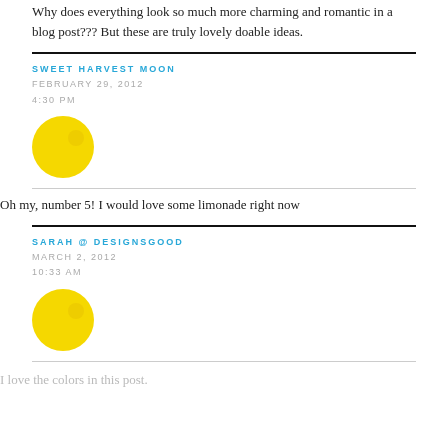Why does everything look so much more charming and romantic in a blog post??? But these are truly lovely doable ideas.
SWEET HARVEST MOON
FEBRUARY 29, 2012
4:30 PM
[Figure (illustration): Yellow circle avatar for Sweet Harvest Moon commenter]
Oh my, number 5! I would love some limonade right now
SARAH @ DESIGNSGOOD
MARCH 2, 2012
10:33 AM
[Figure (illustration): Yellow circle avatar for Sarah @ Designsgood commenter]
I love the colors in this post.